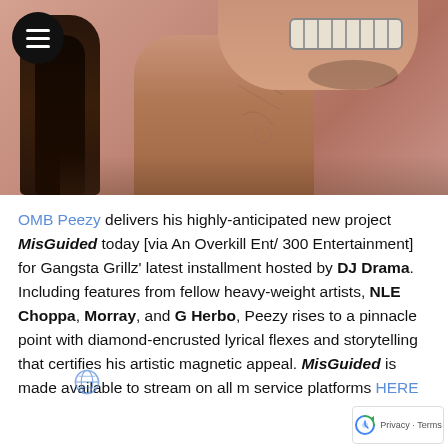[Figure (photo): Close-up photo of OMB Peezy, a rapper, showing his neck tattoos, dreadlocks, and a smiling face with braces, against a pink/salmon background. A hamburger menu icon is in the top-left corner.]
OMB Peezy delivers his highly-anticipated new project MisGuided today [via An Overkill Ent/ 300 Entertainment] for Gangsta Grillz' latest installment hosted by DJ Drama. Including features from fellow heavy-weight artists, NLE Choppa, Morray, and G Herbo, Peezy rises to a pinnacle point with diamond-encrusted lyrical flexes and storytelling that certifies his artistic magnetic appeal. MisGuided is made available to stream on all m service platforms HERE